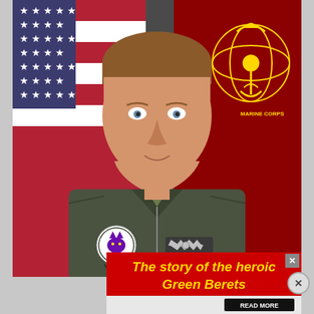[Figure (photo): Official military portrait of a young male U.S. Marine wearing an olive green flight suit with VMM-364 Purple Fox squadron patch on the left chest and an aviator wings badge on the right chest. He is standing in front of an American flag on the left and a red U.S. Marine Corps flag on the right.]
[Figure (other): Advertisement banner with red background and gold italic text reading 'The story of the heroic Green Berets' with a black READ MORE button. Has an X close button in the top right corner and a circular close button to the right of the ad.]